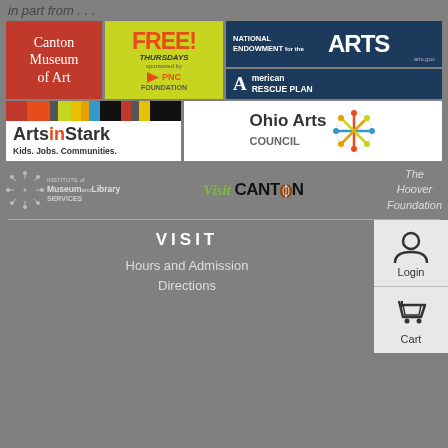in part from . . .
[Figure (logo): Canton Museum of Art logo (red background, white text)]
[Figure (logo): FREE! THURSDAYS sponsored by PNC Foundation logo (yellow-green background)]
[Figure (logo): National Endowment for the ARTS - arts.gov (dark blue background, white text)]
[Figure (logo): American Rescue Plan logo (dark blue background, white text)]
[Figure (logo): ArtsInStark - Kids. Jobs. Communities. logo with colored stripes]
[Figure (logo): Ohio Arts Council logo with colorful wheel graphic]
[Figure (logo): Institute of Museum and Library Services logo]
[Figure (logo): Visit Canton logo (green Visit script + bold CANTON text with football O)]
The Hoover Foundation
VISIT
Hours and Admission
Directions